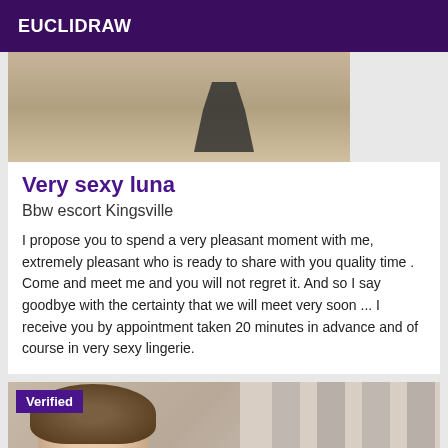EUCLIDRAW
[Figure (photo): Cropped photo showing legs/feet in high heels on sandy ground with white panel on right side]
Very sexy luna
Bbw escort Kingsville
I propose you to spend a very pleasant moment with me, extremely pleasant who is ready to share with you quality time . Come and meet me and you will not regret it. And so I say goodbye with the certainty that we will meet very soon ... I receive you by appointment taken 20 minutes in advance and of course in very sexy lingerie.
[Figure (photo): Photo of a young woman with wavy blonde-brown hair wearing white clothing, with stone pillars/wall in background. Verified badge overlay in top left.]